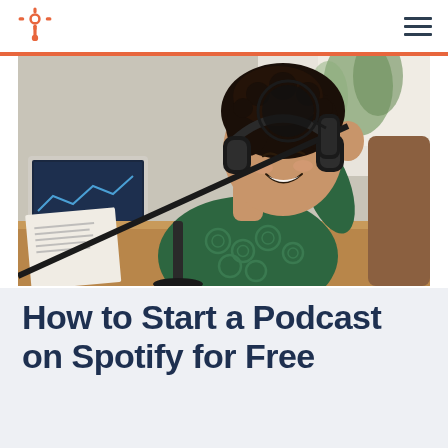HubSpot logo and navigation menu
[Figure (photo): A smiling Black woman wearing large over-ear headphones and a dark green patterned long-sleeve top sits at a desk in front of a professional podcast microphone on a boom arm. A laptop and some papers are visible on the wooden desk in the background.]
How to Start a Podcast on Spotify for Free